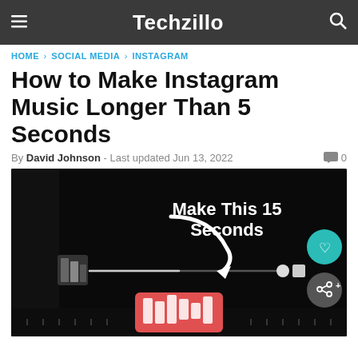Techzillo
HOME › SOCIAL MEDIA › INSTAGRAM
How to Make Instagram Music Longer Than 5 Seconds
By David Johnson - Last updated Jun 13, 2022
[Figure (screenshot): Dark background screenshot showing Instagram music interface with text overlay 'Make This 15 Seconds' and an arrow pointing to a music duration slider. Also shows heart (like) and share floating action buttons on the right side.]